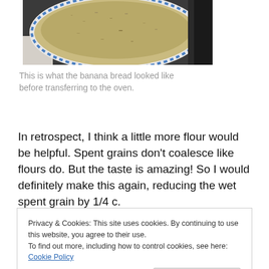[Figure (photo): A bowl with banana bread batter containing spent grains, with a blue dotted rim visible at the top, photographed from above on a dark surface.]
This is what the banana bread looked like before transferring to the oven.
In retrospect, I think a little more flour would be helpful. Spent grains don't coalesce like flours do. But the taste is amazing! So I would definitely make this again, reducing the wet spent grain by 1/4 c.
Privacy & Cookies: This site uses cookies. By continuing to use this website, you agree to their use.
To find out more, including how to control cookies, see here: Cookie Policy